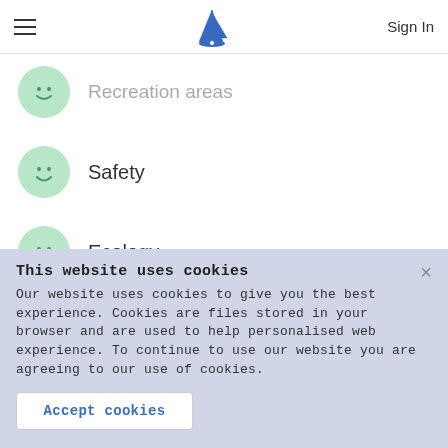≡  [sailboat logo]  Sign In
Recreation areas
Safety
Ecology
About Kassandra municipality →
This website uses cookies
Our website uses cookies to give you the best experience. Cookies are files stored in your browser and are used to help personalised web experience. To continue to use our website you are agreeing to our use of cookies.
Accept cookies